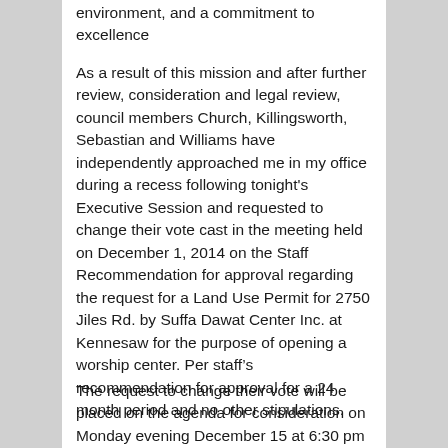environment, and a commitment to excellence
As a result of this mission and after further review, consideration and legal review, council members Church, Killingsworth, Sebastian and Williams have independently approached me in my office during a recess following tonight's Executive Session and requested to change their vote cast in the meeting held on December 1, 2014 on the Staff Recommendation for approval regarding the request for a Land Use Permit for 2750 Jiles Rd. by Suffa Dawat Center Inc. at Kennesaw for the purpose of opening a worship center. Per staff’s recommendation for approval for a 24 month period and no other stipulations.
The request to change their vote will be placed on the agenda for consideration on Monday evening December 15 at 6:30 pm in this council